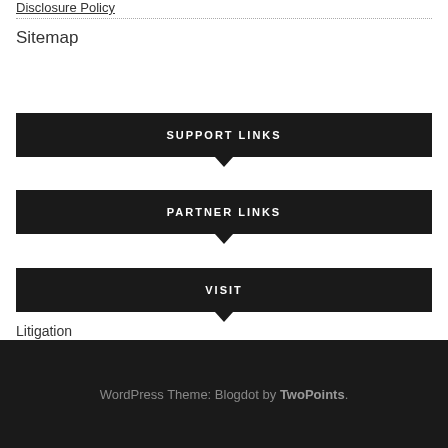Disclosure Policy
Sitemap
SUPPORT LINKS
PARTNER LINKS
VISIT
Litigation
WordPress Theme: Blogdot by TwoPoints.